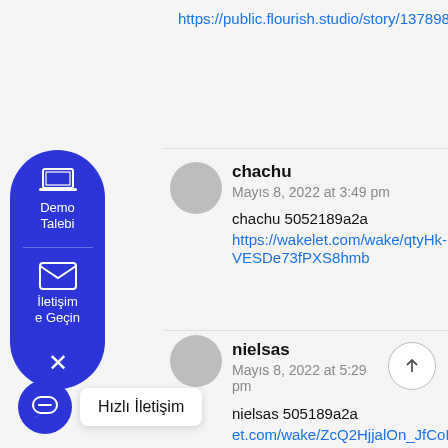https://public.flourish.studio/story/1378981/
chachu
Mayıs 8, 2022 at 3:49 pm
chachu 5052189a2a
https://wakelet.com/wake/qtyHk-VESDe73fPXS8hmb
nielsas
Mayıs 8, 2022 at 5:29 pm
nielsas 5052189a2a
https://...et.com/wake/ZcQ2HjjalOn_JfCoB8xf3
Demo Talebi
İletişime Geçin
Hızlı İletişim